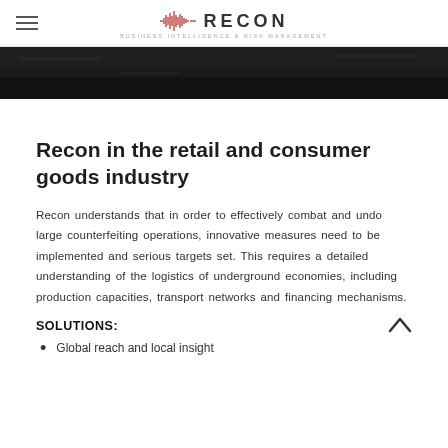RECON — BUSINESS INTELLIGENCE & RISK MANAGEMENT
[Figure (photo): Dark background hero image, appears to show machinery or cables in dim lighting]
Recon in the retail and consumer goods industry
Recon understands that in order to effectively combat and undo large counterfeiting operations, innovative measures need to be implemented and serious targets set. This requires a detailed understanding of the logistics of underground economies, including production capacities, transport networks and financing mechanisms.
SOLUTIONS:
Global reach and local insight